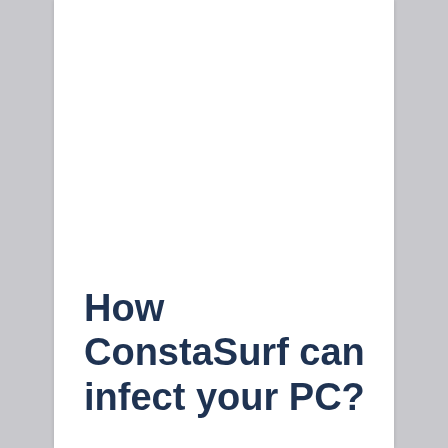How ConstaSurf can infect your PC?